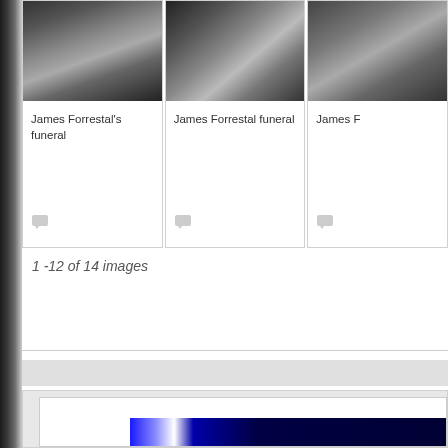[Figure (photo): Black and white photograph - James Forrestal's funeral]
James Forrestal's funeral
[Figure (photo): Black and white photograph - James Forrestal funeral]
James Forrestal funeral
[Figure (photo): Black and white photograph - James F (truncated)]
James F
1 -12 of 14 images
[Figure (photo): Partial blue and navy colored image at the bottom of the page]